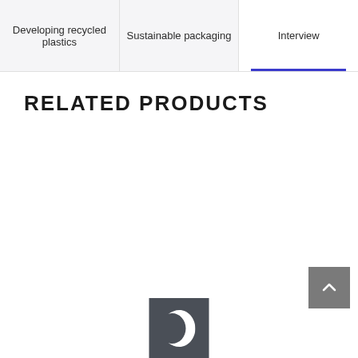Developing recycled plastics | Sustainable packaging | Interview
RELATED PRODUCTS
[Figure (logo): Gray square logo with a white crescent/C shape]
[Figure (other): Gray back-to-top arrow button in bottom right corner]